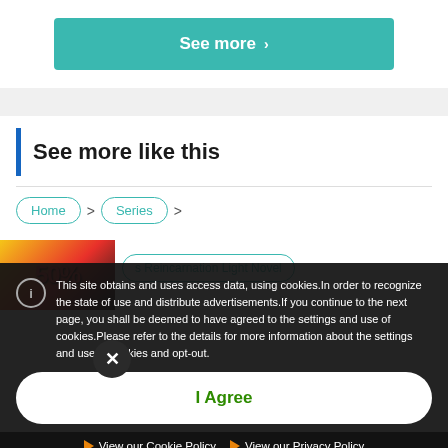See more ›
See more like this
Home
Series
s Reincarnation Light Novel
This site obtains and uses access data, using cookies.In order to recognize the state of use and distribute advertisements.If you continue to the next page, you shall be deemed to have agreed to the settings and use of cookies.Please refer to the details for more information about the settings and use of cookies and opt-out.
I Agree
View our Cookie Policy
View our Privacy Policy